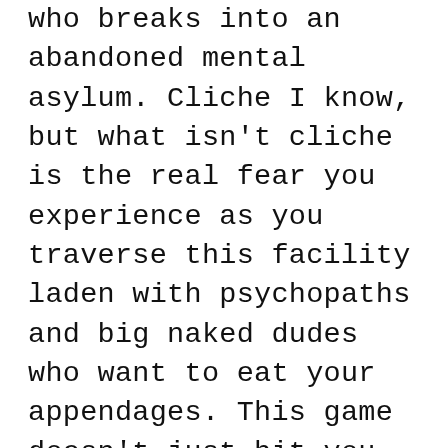who breaks into an abandoned mental asylum. Cliche I know, but what isn't cliche is the real fear you experience as you traverse this facility laden with psychopaths and big naked dudes who want to eat your appendages. This game doesn't just hit you with scary music that crescendos into a jump scare. This game meticulously plans it's fear by slowly